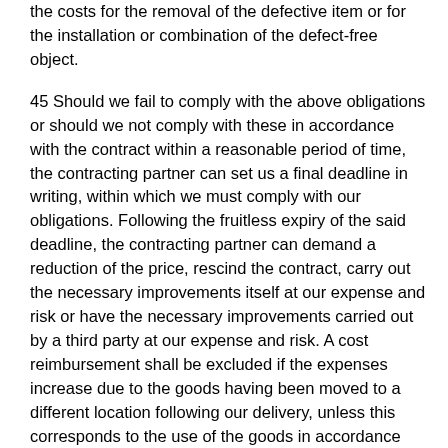the costs for the removal of the defective item or for the installation or combination of the defect-free object.
45 Should we fail to comply with the above obligations or should we not comply with these in accordance with the contract within a reasonable period of time, the contracting partner can set us a final deadline in writing, within which we must comply with our obligations. Following the fruitless expiry of the said deadline, the contracting partner can demand a reduction of the price, rescind the contract, carry out the necessary improvements itself at our expense and risk or have the necessary improvements carried out by a third party at our expense and risk. A cost reimbursement shall be excluded if the expenses increase due to the goods having been moved to a different location following our delivery, unless this corresponds to the use of the goods in accordance with the provisions of the contract.
46 Statutory recourse claims of the contracting partner